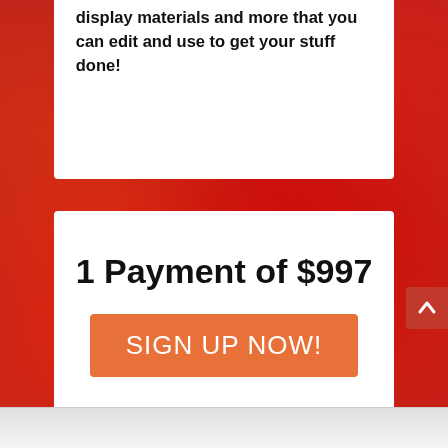[Figure (photo): Red glittery bokeh background filling the entire page]
display materials and more that you can edit and use to get your stuff done!
1 Payment of $997
SIGN UP NOW!